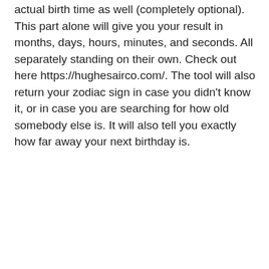actual birth time as well (completely optional).  This part alone will give you your result in months, days, hours, minutes, and seconds.  All separately standing on their own.  Check out here https://hughesairco.com/.  The tool will also return your zodiac sign in case you didn't know it, or in case you are searching for how old somebody else is.  It will also tell you exactly how far away your next birthday is.